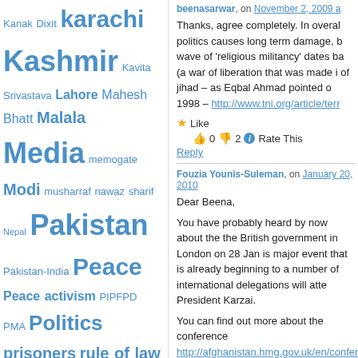Kanak Dixit karachi Kashmir Kavita Srivastava Lahore Mahesh Bhatt Malala Media memogate Modi musharraf nawaz sharif Nepal Pakistan Pakistan-India Peace Peace activism PIPFPD PMA Politics prisoners rule of law sabeen mahmud salmaan taseer shahbaz bhatti Shahidul Alam sindh social media Southasia south asia Swat T2F Taliban Talibanisation terrorism Trump VAW violence Violence against women women Zakia Sarwar
Top Posts
India-Pakistan @ 75 and graphic images from Ukraine:
beenasarwar, on November 2, 2009 a
Thanks, agree completely. In overal politics causes long term damage, b wave of 'religious militancy' dates ba (a war of liberation that was made i of jihad – as Eqbal Ahmad pointed o 1998 – http://www.tni.org/article/terr
👍 0 👎 2 ℹ Rate This
Reply
Fouzia Younis-Suleman, on January 20, 2010
Dear Beena,
You have probably heard by now about the the British government in London on 28 Jan is major event that is already beginning to a number of international delegations will atte President Karzai.
You can find out more about the conference http://afghanistan.hmg.gov.uk/en/conferenc
On the conference website you can: